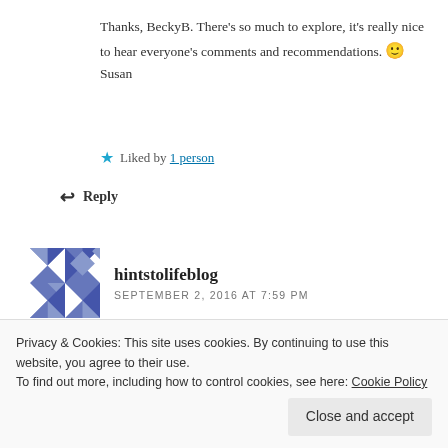Thanks, BeckyB. There's so much to explore, it's really nice to hear everyone's comments and recommendations. 🙂 Susan
★ Liked by 1 person
↩ Reply
hintstolifeblog
SEPTEMBER 2, 2016 AT 7:59 PM
Lovely photos!! If you have the time I would be really
Privacy & Cookies: This site uses cookies. By continuing to use this website, you agree to their use. To find out more, including how to control cookies, see here: Cookie Policy
Close and accept